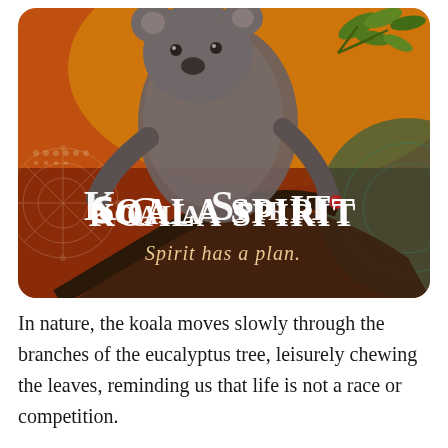[Figure (illustration): A koala climbing a branch against a richly colored background with orange, red, green, and teal tones featuring decorative mandala-like patterns. Overlaid text reads 'KOALA SPIRIT' in large serif/display lettering and 'Spirit has a plan.' in italic script below.]
In nature, the koala moves slowly through the branches of the eucalyptus tree, leisurely chewing the leaves, reminding us that life is not a race or competition.